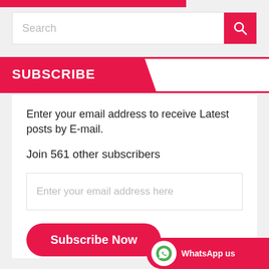[Figure (screenshot): Search bar with pink search button on right]
SUBSCRIBE
Enter your email address to receive Latest posts by E-mail.
Join 561 other subscribers
[Figure (other): Email input field with placeholder text 'Enter your email address here']
[Figure (other): Subscribe Now button (pink/rose, rounded)]
[Figure (other): WhatsApp us widget in bottom right corner]